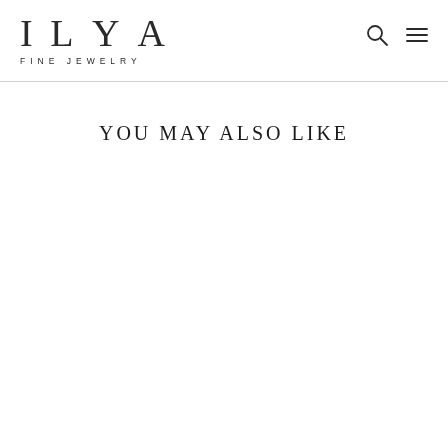ILYA FINE JEWELRY
YOU MAY ALSO LIKE